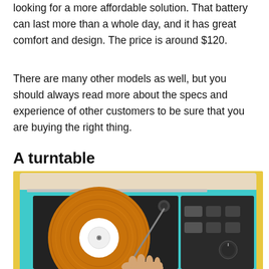looking for a more affordable solution. That battery can last more than a whole day, and it has great comfort and design. The price is around $120.
There are many other models as well, but you should always read more about the specs and experience of other customers to be sure that you are buying the right thing.
A turntable
[Figure (photo): A top-down photo of a turntable with an amber/orange vinyl record on a yellow background. The turntable has a teal/cyan border and a black platter. A hand is visible placing or adjusting the tonearm on the record.]